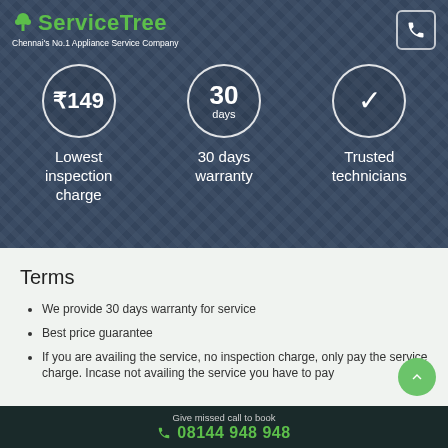[Figure (screenshot): ServiceTree hero banner with technician background, showing logo, tagline, three feature badges (₹149 inspection charge, 30 days warranty, trusted technicians), and a call button]
Terms
We provide 30 days warranty for service
Best price guarantee
If you are availing the service, no inspection charge, only pay the service charge. Incase not availing the service you have to pay
Give missed call to book
08144 948 948